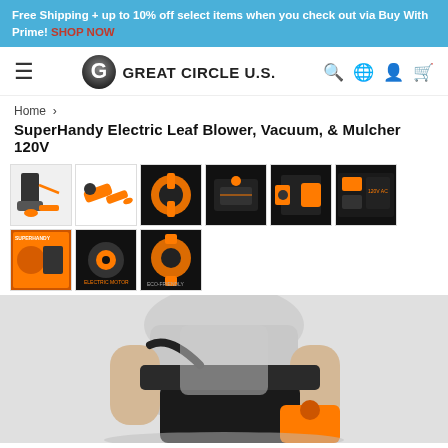Free Shipping + up to 10% off select items when you check out via Buy With Prime! SHOP NOW
[Figure (logo): Great Circle U.S. logo with stylized G icon and navigation icons]
Home ›
SuperHandy Electric Leaf Blower, Vacuum, & Mulcher 120V
[Figure (photo): Grid of 9 product thumbnail images showing electric leaf blower/vacuum/mulcher from various angles]
[Figure (photo): Main product photo showing person holding black collection bag with orange leaf blower]